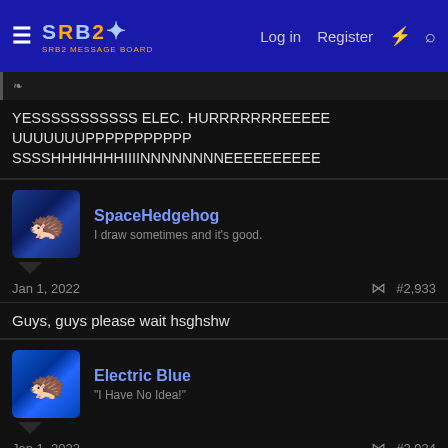SRB2 — Log in  Register
YESSSSSSSSSSS ELEC. HURRRRRRREEEEE UUUUUUUPPPPPPPPPPP SSSSHHHHHHHIIIINNNNNNNNEEEEEEEEEE
SpaceHedgehog — I draw sometimes and it's good.
Jan 1, 2022  #2,933
Guys, guys please wait hsghshw
Electric Blue — "I Have No Idea!"
Jan 1, 2022  #2,934
COME ON SHINE COME ON SHINE COME ON METAL COME